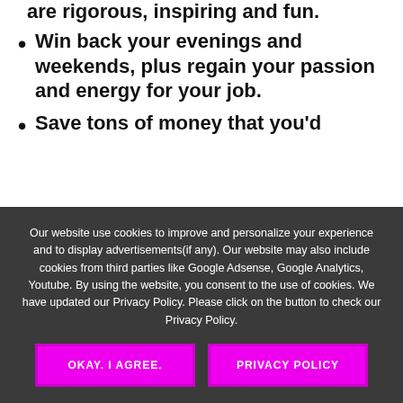are rigorous, inspiring and fun.
Win back your evenings and weekends, plus regain your passion and energy for your job.
Save tons of money that you'd
Our website use cookies to improve and personalize your experience and to display advertisements(if any). Our website may also include cookies from third parties like Google Adsense, Google Analytics, Youtube. By using the website, you consent to the use of cookies. We have updated our Privacy Policy. Please click on the button to check our Privacy Policy.
OKAY. I AGREE.
PRIVACY POLICY